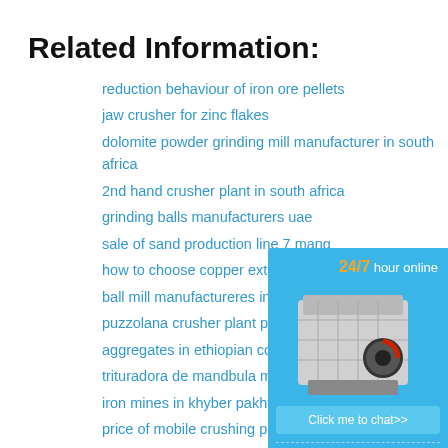Related Information:
reduction behaviour of iron ore pellets
jaw crusher for zinc flakes
dolomite powder grinding mill manufacturer in south africa
2nd hand crusher plant in south africa
grinding balls manufacturers uae
sale of sand production line 7 mang…
how to choose copper extraction m…
ball mill manufactureres india
puzzolana crusher plant pdf
aggregates in ethiopian constructio…
trituradora de mandbula mvil
iron mines in khyber pakhtunkhwa
price of mobile crushing plant china…
thermal power plant cfbc boiler inst… control pdf
used grinding mill plant for sale…
[Figure (illustration): Blue sidebar widget showing a jaw crusher machine with '24/7 hour online' text, 'Click me to chat>>' button, 'Enquiry' section, and 'limingjlmofen' text]